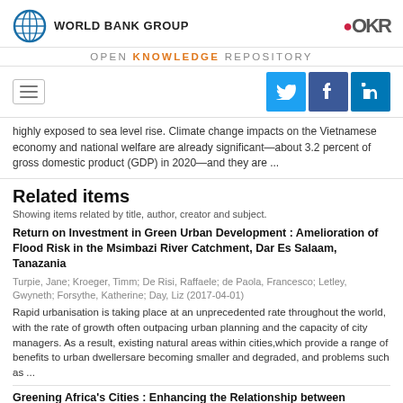WORLD BANK GROUP — OPEN KNOWLEDGE REPOSITORY
highly exposed to sea level rise. Climate change impacts on the Vietnamese economy and national welfare are already significant—about 3.2 percent of gross domestic product (GDP) in 2020—and they are ...
Related items
Showing items related by title, author, creator and subject.
Return on Investment in Green Urban Development : Amelioration of Flood Risk in the Msimbazi River Catchment, Dar Es Salaam, Tanazania
Turpie, Jane; Kroeger, Timm; De Risi, Raffaele; de Paola, Francesco; Letley, Gwyneth; Forsythe, Katherine; Day, Liz (2017-04-01)
Rapid urbanisation is taking place at an unprecedented rate throughout the world, with the rate of growth often outpacing urban planning and the capacity of city managers. As a result, existing natural areas within cities,which provide a range of benefits to urban dwellersare becoming smaller and degraded, and problems such as ...
Greening Africa's Cities : Enhancing the Relationship between